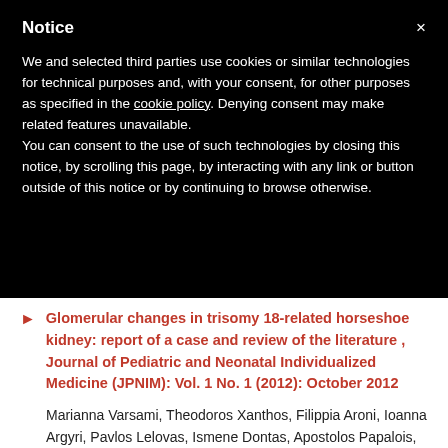Notice
We and selected third parties use cookies or similar technologies for technical purposes and, with your consent, for other purposes as specified in the cookie policy. Denying consent may make related features unavailable.
You can consent to the use of such technologies by closing this notice, by scrolling this page, by interacting with any link or button outside of this notice or by continuing to browse otherwise.
Glomerular changes in trisomy 18-related horseshoe kidney: report of a case and review of the literature , Journal of Pediatric and Neonatal Individualized Medicine (JPNIM): Vol. 1 No. 1 (2012): October 2012
Marianna Varsami, Theodoros Xanthos, Filippia Aroni, Ioanna Argyri, Pavlos Lelovas, Ismene Dontas, Apostolos Papalois, Vassilios Fanos,